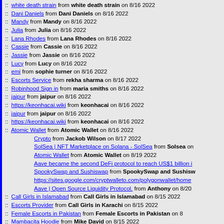:: white death strain from white death strain on 8/16 2022
:: Dani Daniels from Dani Daniels on 8/16 2022
:: Mandy from Mandy on 8/16 2022
:: Julia from Julia on 8/16 2022
:: Lana Rhodes from Lana Rhodes on 8/16 2022
:: Cassie from Cassie on 8/16 2022
:: Jassie from Jassie on 8/16 2022
:: Lucy from Lucy on 8/16 2022
:: emi from sophie turner on 8/16 2022
:: Escorts Service from rekha sharma on 8/16 2022
:: Robinhood Sign in from maria smiths on 8/16 2022
:: jaipur from jaipur on 8/16 2022
:: https://keonhacai.wiki from keonhacai on 8/16 2022
:: jaipur from jaipur on 8/16 2022
:: https://keonhacai.wiki from keonhacai on 8/16 2022
:: Atomic Wallet from Atomic Wallet on 8/16 2022
Crypto from Jackob Wilson on 8/17 2022
SolSea | NFT Marketplace on Solana - SolSea from Solsea on
Atomic Wallet from Atomic Wallet on 8/19 2022
Aave became the second DeFi protocol to reach US$1 billion i
SpookySwap and Sushiswap from SpookySwap and Sushisw
https://sites.google.com/cryptwalleto.com/polygonwallet/home
Aave | Open Source Liquidity Protocol. from Anthony on 8/20
:: Call Girls in Islamabad from Call Girls in Islamabad on 8/15 2022
:: Escorts Provider from Call Girls in Karachi on 8/15 2022
:: Female Escorts in Pakistan from Female Escorts in Pakistan on 8
:: Mambacita Hoodie from Mike David on 8/15 2022
:: https://keonhacai.wiki from keo nha cai on 8/15 2022
:: Call girls from Call girls in Islamabad on 8/15 2022
:: Top Gun Maverick Penny Benjamin Black Jacket from michael on 8